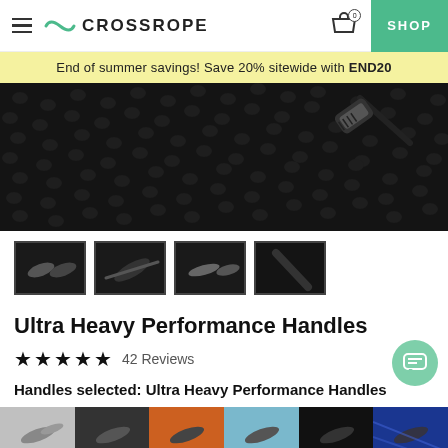CROSSROPE — SHOP
End of summer savings! Save 20% sitewide with END20
[Figure (photo): Hero product photo: black rubber mat texture with a jump rope handle connector visible in upper right corner]
[Figure (photo): Four product thumbnail images of jump rope handles on dark backgrounds]
Ultra Heavy Performance Handles
★★★★★ 42 Reviews
Handles selected: Ultra Heavy Performance Handles
[Figure (photo): Six variant option images showing different handle/rope color options: grey, dark, orange, light blue, black, blue patterned]